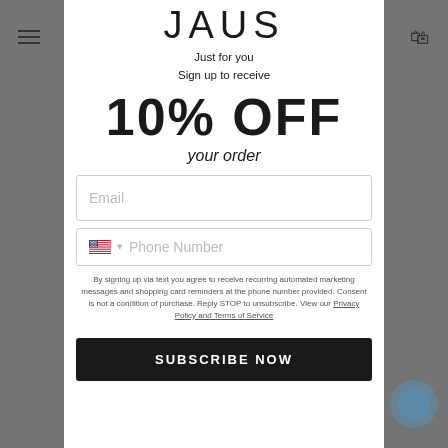JAUS
Just for you
Sign up to receive
10% OFF
your order
Email
Phone Number
By signing up via text you agree to receive recurring automated marketing messages and shopping card reminders at the phone number provided. Consent is not a condition of purchase. Reply STOP to unsubscribe. View our Privacy Policy and Terms of Service
SUBSCRIBE NOW